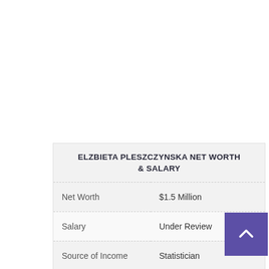[Figure (other): Broken/placeholder image icon with an X symbol]
|  |  |
| --- | --- |
| Net Worth | $1.5 Million |
| Salary | Under Review |
| Source of Income | Statistician |
| Cars | Not Available |